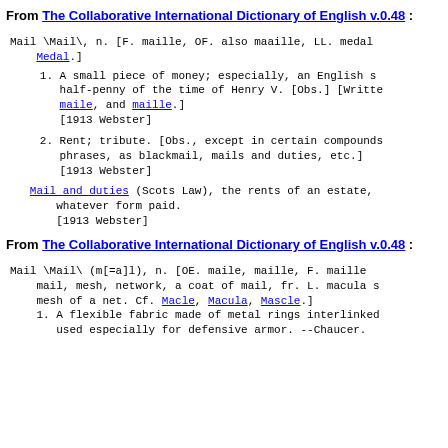From The Collaborative International Dictionary of English v.0.48 :
Mail \Mail\, n. [F. maille, OF. also maaille, LL. medal. Medal.]
1. A small piece of money; especially, an English silver half-penny of the time of Henry V. [Obs.] [Written also maile, and maille.] [1913 Webster]
2. Rent; tribute. [Obs., except in certain compounds and phrases, as blackmail, mails and duties, etc.] [1913 Webster]
Mail and duties (Scots Law), the rents of an estate, in whatever form paid. [1913 Webster]
From The Collaborative International Dictionary of English v.0.48 :
Mail \Mail\ (m[=a]l), n. [OE. maile, maille, F. maille mail, mesh, network, a coat of mail, fr. L. macula spot, mesh of a net. Cf. Macle, Macula, Mascle.] 1. A flexible fabric made of metal rings interlinked, used especially for defensive armor. --Chaucer.